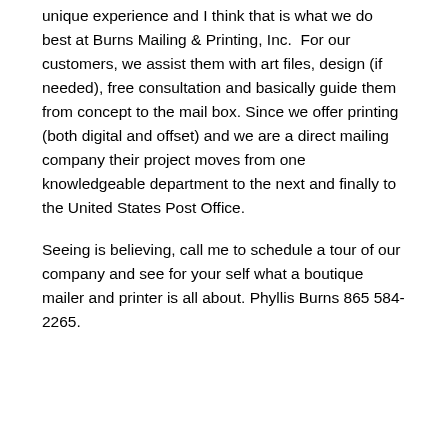unique experience and I think that is what we do best at Burns Mailing & Printing, Inc.  For our customers, we assist them with art files, design (if needed), free consultation and basically guide them from concept to the mail box. Since we offer printing (both digital and offset) and we are a direct mailing company their project moves from one knowledgeable department to the next and finally to the United States Post Office.
Seeing is believing, call me to schedule a tour of our company and see for your self what a boutique mailer and printer is all about. Phyllis Burns 865 584-2265.